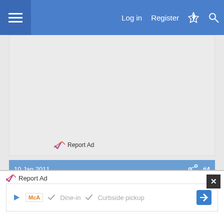Log in  Register
[Figure (screenshot): Advertisement placeholder area (gray box)]
Report Ad
10 Jan 2011  #4
Hudson Carpentry
Established Member
Report Ad
[Figure (infographic): Ad banner: McDonald's - Dine-in, Curbside pickup]